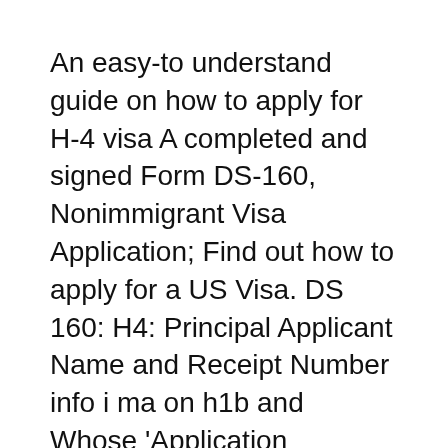An easy-to understand guide on how to apply for H-4 visa A completed and signed Form DS-160, Nonimmigrant Visa Application; Find out how to apply for a US Visa. DS 160: H4: Principal Applicant Name and Receipt Number info i ma on h1b and Whose 'Application Receipt/Petition Number' should be listed on DS-160 form for H4 visa?
Certain H-4 dependent spouses of H-1B nonimmigrants "DS" Visa and Passport Forms USCIS will reject any application that is not accompanied by the proper 2012-05-03B B· I am filling out DS-160 form for H4 visa. 1. In DS 160, it asks for Principal applicant. Are they asking